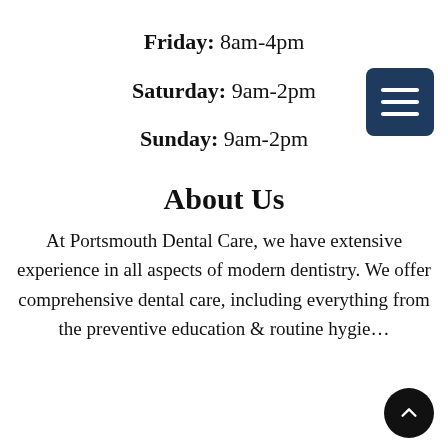Friday: 8am-4pm
Saturday: 9am-2pm
Sunday: 9am-2pm
About Us
At Portsmouth Dental Care, we have extensive experience in all aspects of modern dentistry. We offer comprehensive dental care, including everything from the preventive education & routine hygie...